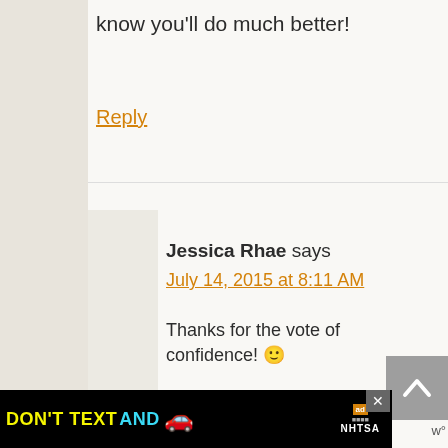know you'll do much better!
Reply
Jessica Rhae says
July 14, 2015 at 8:11 AM
Thanks for the vote of confidence! 🙂
I have so many feels around this article and these issues. I know things have changed with pets in the last 30 years
[Figure (infographic): Advertisement banner: DON'T TEXT AND [car emoji] with NHTSA logo and ad badge, with close button]